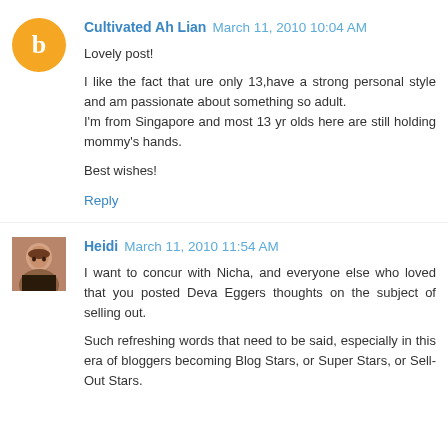Cultivated Ah Lian March 11, 2010 10:04 AM
Lovely post!

I like the fact that ure only 13,have a strong personal style and am passionate about something so adult.
I'm from Singapore and most 13 yr olds here are still holding mommy's hands.

Best wishes!
Reply
Heidi March 11, 2010 11:54 AM
I want to concur with Nicha, and everyone else who loved that you posted Deva Eggers thoughts on the subject of selling out.

Such refreshing words that need to be said, especially in this era of bloggers becoming Blog Stars, or Super Stars, or Sell-Out Stars.